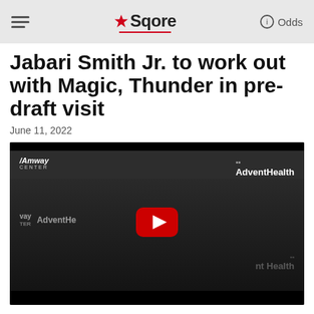Sqore — Odds
Jabari Smith Jr. to work out with Magic, Thunder in pre-draft visit
June 11, 2022
[Figure (screenshot): Video thumbnail showing Jabari Smith Jr. at a press conference with Orlando Magic backdrop including Amway Center and AdventHealth sponsor logos. A YouTube-style red play button is overlaid in the center.]